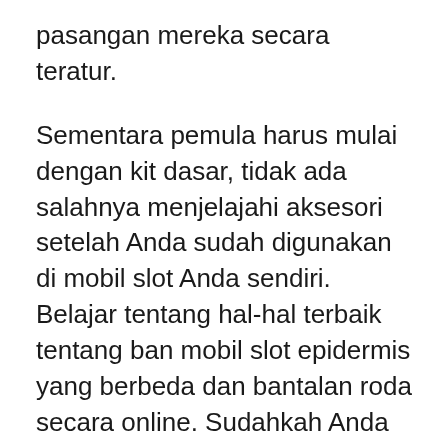pasangan mereka secara teratur.
Sementara pemula harus mulai dengan kit dasar, tidak ada salahnya menjelajahi aksesori setelah Anda sudah digunakan di mobil slot Anda sendiri. Belajar tentang hal-hal terbaik tentang ban mobil slot epidermis yang berbeda dan bantalan roda secara online. Sudahkah Anda mempertimbangkan mesin dan roda gigi? Akankah perubahan gigi memungkinkan seseorang tampil lebih baik saat dilihat? Anda dapat menjadwalkan pembelian “ekspansi” Anda sehingga Anda akan merasa sangat bersalah karena bereksperimen pada aksesori. Jika Anda memiliki jumlah untuk membeli pengontrol baru, paket daya yang lebih baik, aksesori baru untuk digunakan di trek Anda seperti